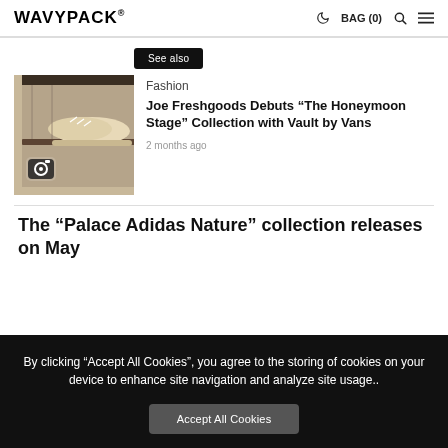WAVYPACK® | BAG (0) [search] [menu]
See also
Fashion
Joe Freshgoods Debuts “The Honeymoon Stage” Collection with Vault by Vans
2 months ago
[Figure (photo): Photo of beige/cream sneakers on a dark wooden shelf, with a camera icon overlay]
The “Palace Adidas Nature” collection releases on May
By clicking “Accept All Cookies”, you agree to the storing of cookies on your device to enhance site navigation and analyze site usage..
Accept All Cookies